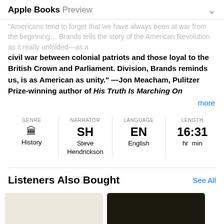Apple Books Preview
"Americans tend to forget that we have always been at war from the beginning… Brands tells the story of the American Revolution as it really unfolded—as a civil war between colonial patriots and those loyal to the British Crown and Parliament. Division, Brands reminds us, is as American as unity." —Jon Meacham, Pulitzer Prize-winning author of His Truth Is Marching On
more
| GENRE | NARRATOR | LANGUAGE | LENGTH |
| --- | --- | --- | --- |
| History | Steve Hendrickson | English | 16:31 hr min |
Listeners Also Bought
See All
[Figure (illustration): Two book cover thumbnails partially visible: one with a cream/beige background, one with a very dark olive/black background.]